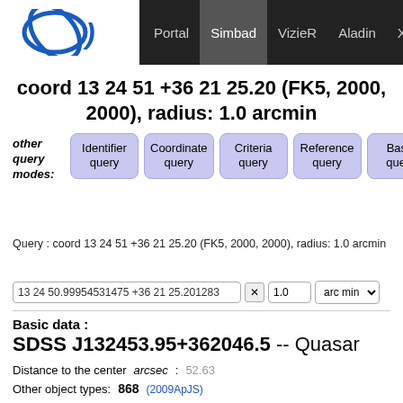Portal | Simbad | VizieR | Aladin | X-Match | Other
coord 13 24 51 +36 21 25.20 (FK5, 2000, 2000), radius: 1.0 arcmin
other query modes: Identifier query | Coordinate query | Criteria query | Reference query | Basic query
Query : coord 13 24 51 +36 21 25.20 (FK5, 2000, 2000), radius: 1.0 arcmin
13 24 50.99954531475 +36 21 25.201283  1.0  arc min
Basic data :
SDSS J132453.95+362046.5 -- Quasar
Distance to the center arcsec: 52.63
Other object types: 868 (2009ApJS)